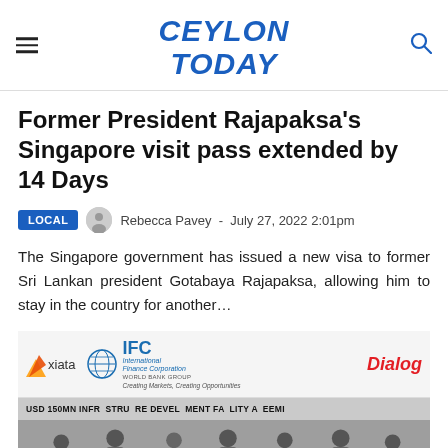CEYLON TODAY
Former President Rajapaksa's Singapore visit pass extended by 14 Days
LOCAL  Rebecca Pavey - July 27, 2022 2:01pm
The Singapore government has issued a new visa to former Sri Lankan president Gotabaya Rajapaksa, allowing him to stay in the country for another...
[Figure (photo): Photo showing IFC World Bank Group and Axiata logos with Dialog branding, and a banner reading 'USD 150MN INFRASTRUCTURE DEVELOPMENT FACILITY AGREEMENT' with people standing in front of the banner.]